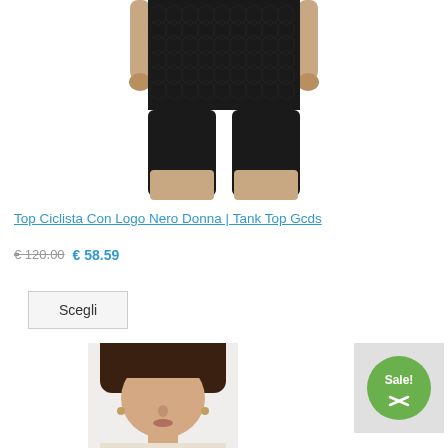[Figure (photo): Model wearing black textured cycling shorts/biker shorts, cropped view showing torso and legs from waist to mid-thigh, white background]
Top Ciclista Con Logo Nero Donna | Tank Top Gcds
€ 120.00 € 58.59
Scegli
[Figure (photo): Model with dark hair, face partially visible from eyes down, wearing light top, white background, bottom portion of page. Sale badge in green circle visible at right.]